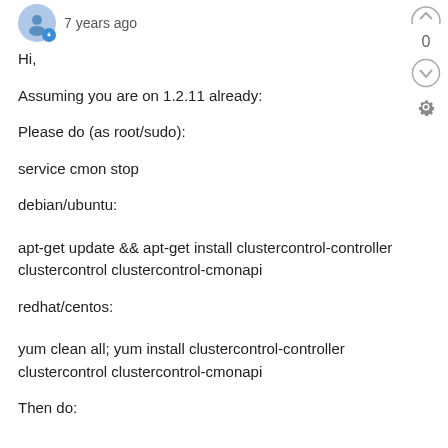7 years ago
Hi,
Assuming you are on 1.2.11 already:
Please do (as root/sudo):
service cmon stop
debian/ubuntu:
apt-get update && apt-get install clustercontrol-controller clustercontrol clustercontrol-cmonapi
redhat/centos:
yum clean all; yum install clustercontrol-controller clustercontrol clustercontrol-cmonapi
Then do: